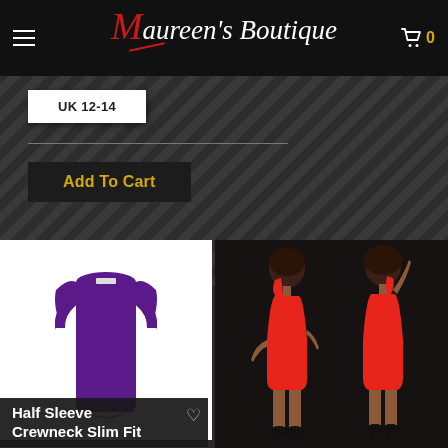Maureen's Boutique — navigation header with hamburger menu and cart (0 items)
UK 12-14
Add To Cart
[Figure (photo): Purple half-sleeve crewneck slim fit bodycon dress on white background]
Half Sleeve Crewneck Slim Fit
[Figure (photo): Two models wearing a red one-shoulder bodycon mini dress, showing front and back views]